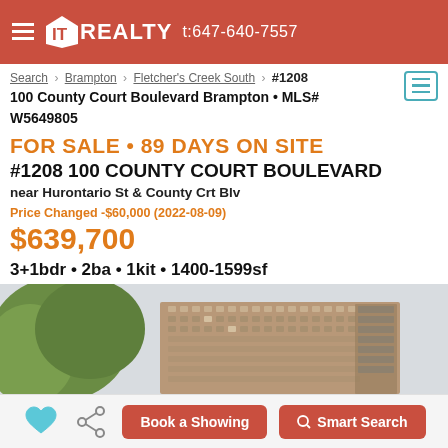IT REALTY t:647-640-7557
Search > Brampton > Fletcher's Creek South > #1208 100 County Court Boulevard Brampton • MLS# W5649805
FOR SALE • 89 DAYS ON SITE
#1208 100 COUNTY COURT BOULEVARD
near Hurontario St & County Crt Blv
Price Changed -$60,000 (2022-08-09)
$639,700
3+1bdr • 2ba • 1kit • 1400-1599sf
[Figure (photo): Exterior photo of a high-rise condominium building at 100 County Court Boulevard Brampton, with trees in foreground and cloudy sky background]
Book a Showing | Smart Search